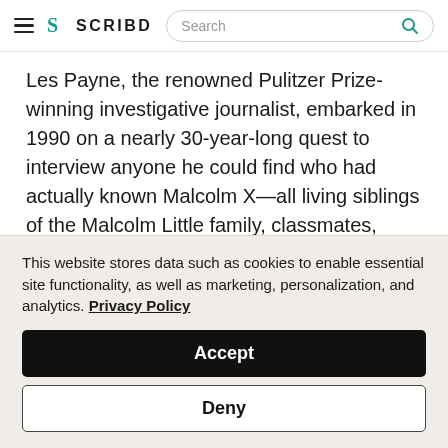SCRIBD (with search bar)
Les Payne, the renowned Pulitzer Prize-winning investigative journalist, embarked in 1990 on a nearly 30-year-long quest to interview anyone he could find who had actually known Malcolm X—all living siblings of the Malcolm Little family, classmates, street friends, cellmates, Nation of Islam figures, FBI moles and cops, and political leaders around the world. His goal was ambitious: to transform what would become more
This website stores data such as cookies to enable essential site functionality, as well as marketing, personalization, and analytics. Privacy Policy
Accept
Deny